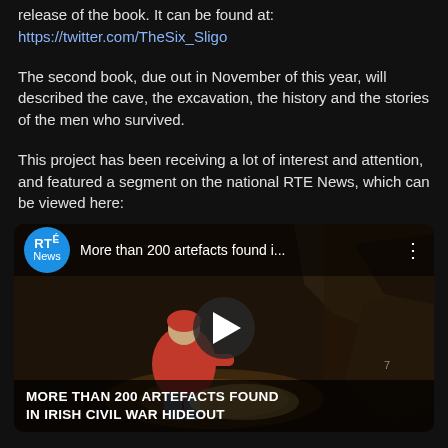release of the book. It can be found at:
https://twitter.com/TheSix_Sligo
The second book, due out in November of this year, will described the cave, the excavation, the history and the stories of the men who survived.
This project has been receiving a lot of interest and attention, and featured a segment on the national RTE News, which can be viewed here:
[Figure (screenshot): Embedded YouTube/video thumbnail for an RTE News video titled 'More than 200 artefacts found i...' showing a person in a red jacket inside a cave with a spotlight. Bottom caption reads 'MORE THAN 200 ARTEFACTS FOUND IN IRISH CIVIL WAR HIDEOUT'. A play button is centered on the thumbnail. RTE News logo (blue circle) is shown top left.]